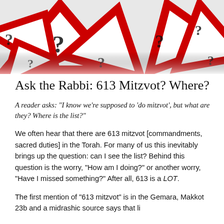[Figure (photo): Collage of red triangular warning/yield road signs scattered on a white background, many overlapping, with question mark symbols visible throughout.]
Ask the Rabbi: 613 Mitzvot? Where?
A reader asks: “I know we’re supposed to ‘do mitzvot’, but what are they? Where is the list?”
We often hear that there are 613 mitzvot [commandments, sacred duties] in the Torah. For many of us this inevitably brings up the question: can I see the list? Behind this question is the worry, “How am I doing?” or another worry, “Have I missed something?” After all, 613 is a LOT.
The first mention of “613 mitzvot” is in the Gemara, Makkot 23b and a midrashic source says that like...